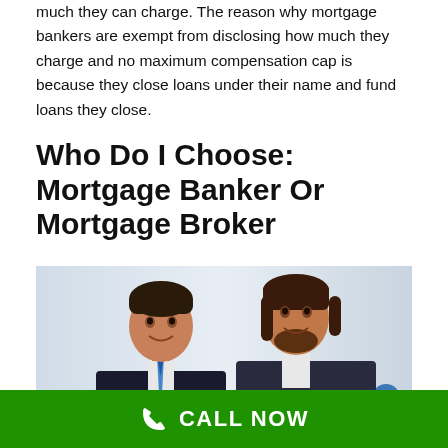much they can charge. The reason why mortgage bankers are exempt from disclosing how much they charge and no maximum compensation cap is because they close loans under their name and fund loans they close.
Who Do I Choose: Mortgage Banker Or Mortgage Broker
[Figure (photo): Two men in business suits smiling, standing back to back in an office environment. The man on the left has short dark hair and a blue striped tie; the man on the right has longer dark hair and a beard.]
Most borrowers do not know whether the loan officer they are dealing with works for a mortgage banker or mortgage
CALL NOW